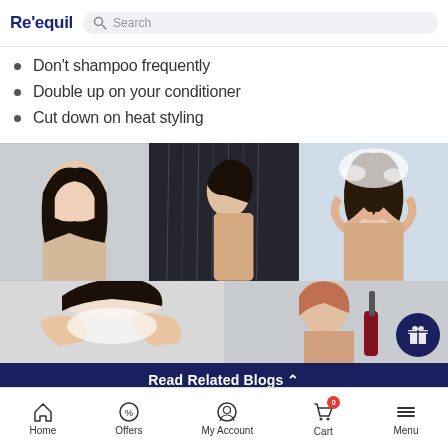Re'equil — Search bar
Don't shampoo frequently
Double up on your conditioner
Cut down on heat styling
[Figure (photo): Collage of 5 photos showing women washing and styling hair: woman with wet dark hair, woman showering under water, woman shampooing hair vigorously, woman lathering hair, woman using hair tool.]
Read Related Blogs ∧
Home   Offers   My Account   Cart (0)   Menu